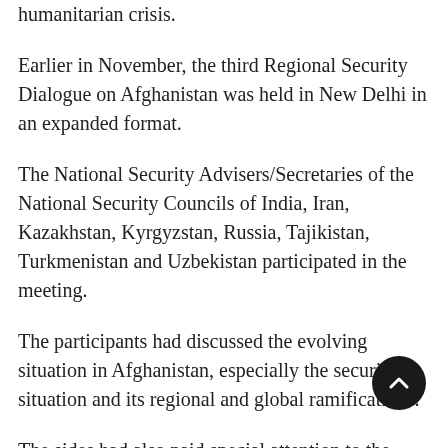humanitarian crisis.
Earlier in November, the third Regional Security Dialogue on Afghanistan was held in New Delhi in an expanded format.
The National Security Advisers/Secretaries of the National Security Councils of India, Iran, Kazakhstan, Kyrgyzstan, Russia, Tajikistan, Turkmenistan and Uzbekistan participated in the meeting.
The participants had discussed the evolving situation in Afghanistan, especially the security situation and its regional and global ramifications.
The sides had also paid special attention to the political